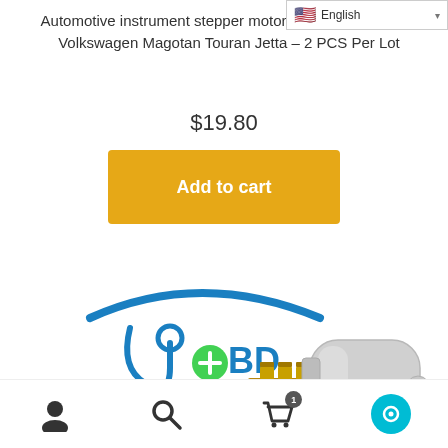English
Automotive instrument stepper motor clockwise for BMW Volkswagen Magotan Touran Jetta – 2 PCS Per Lot
$19.80
Add to cart
[Figure (photo): Product photo of an automotive instrument stepper motor (small silver cylindrical motor) with gold terminals/shaft, alongside a UOBD diagnostic brand logo (blue arc car shape with stethoscope and OBD text in blue)]
Navigation toolbar with user icon, search icon, cart icon with badge 1, and teal chat circle icon